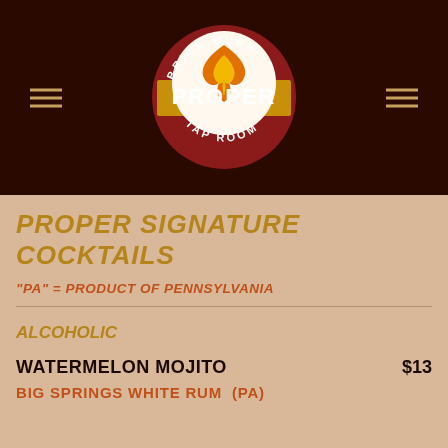[Figure (logo): Brick Oven Proper Tap Room circular logo with flame design on dark brown background]
PROPER SIGNATURE COCKTAILS
"PA" = PRODUCT OF PENNSYLVANIA
ALCOHOLIC
WATERMELON MOJITO  $13
BIG SPRINGS WHITE RUM (PA)